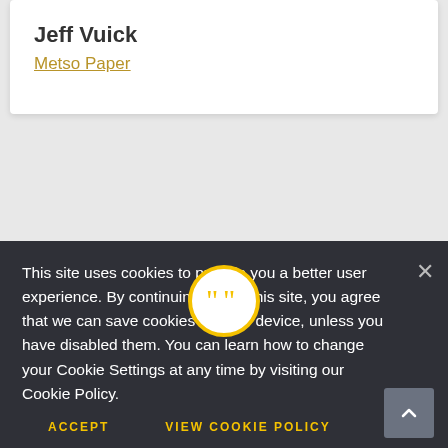Jeff Vuick
Metso Paper
[Figure (illustration): Yellow quotation mark icon in a circle on a yellow horizontal bar, above a white card]
This site uses cookies to provide you a better user experience. By continuing to use this site, you agree that we can save cookies on your device, unless you have disabled them. You can learn how to change your Cookie Settings at any time by visiting our Cookie Policy.
ACCEPT
VIEW COOKIE POLICY